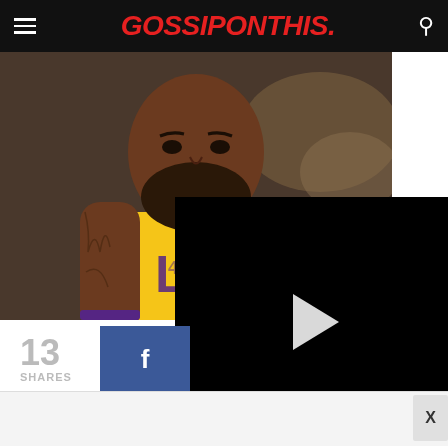GOSSIPONTHIS.
[Figure (photo): LeBron James in a yellow Los Angeles Lakers jersey with 'Wish' sponsor logo, heavily tattooed arms, serious expression, crowd in background]
[Figure (screenshot): Black video player overlay with white play button triangle in center]
13 SHARES
[Figure (other): Facebook share button (blue background with white f icon)]
X (close button for ad)